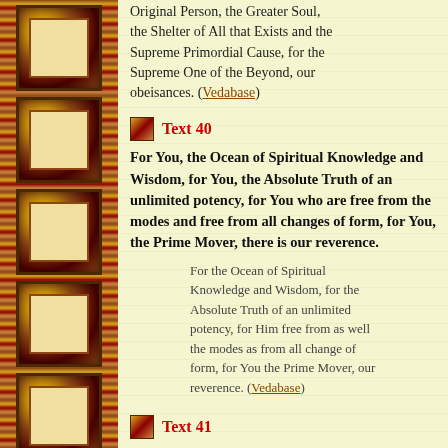Original Person, the Greater Soul, the Shelter of All that Exists and the Supreme Primordial Cause, for the Supreme One of the Beyond, our obeisances. (Vedabase)
Text 40
For You, the Ocean of Spiritual Knowledge and Wisdom, for You, the Absolute Truth of an unlimited potency, for You who are free from the modes and free from all changes of form, for You, the Prime Mover, there is our reverence.
For the Ocean of Spiritual Knowledge and Wisdom, for the Absolute Truth of an unlimited potency, for Him free from as well the modes as from all change of form, for You the Prime Mover, our reverence. (Vedabase)
Text 41
We pray for You as the Time, for You as the